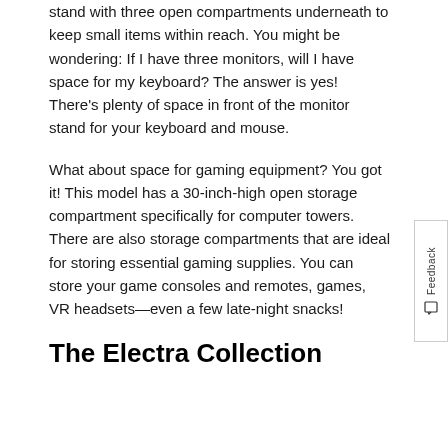stand with three open compartments underneath to keep small items within reach. You might be wondering: If I have three monitors, will I have space for my keyboard? The answer is yes! There's plenty of space in front of the monitor stand for your keyboard and mouse.
What about space for gaming equipment? You got it! This model has a 30-inch-high open storage compartment specifically for computer towers. There are also storage compartments that are ideal for storing essential gaming supplies. You can store your game consoles and remotes, games, VR headsets—even a few late-night snacks!
The Electra Collection